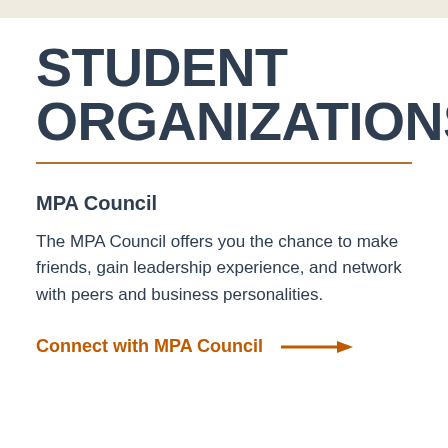STUDENT ORGANIZATIONS
MPA Council
The MPA Council offers you the chance to make friends, gain leadership experience, and network with peers and business personalities.
Connect with MPA Council →